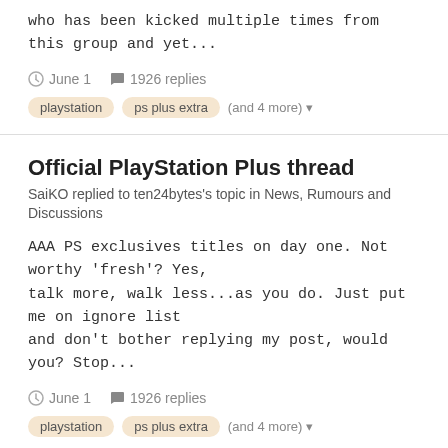who has been kicked multiple times from this group and yet...
June 1   1926 replies
playstation   ps plus extra   (and 4 more)
Official PlayStation Plus thread
SaiKO replied to ten24bytes's topic in News, Rumours and Discussions
AAA PS exclusives titles on day one. Not worthy 'fresh'? Yes, talk more, walk less...as you do. Just put me on ignore list and don't bother replying my post, would you? Stop...
June 1   1926 replies
playstation   ps plus extra   (and 4 more)
Official PlayStation Plus thread
SaiKO replied to ten24bytes's topic in News, Rumours and Discussions